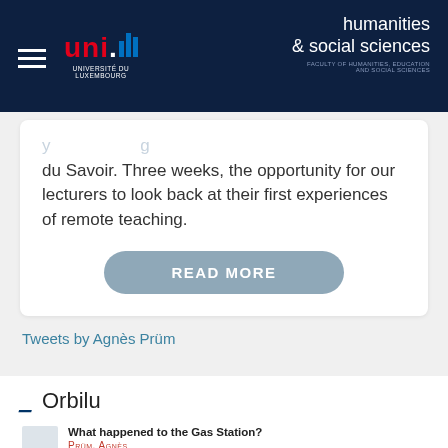uni.lu — Université du Luxembourg | humanities & social sciences | FACULTY OF HUMANITIES, EDUCATION AND SOCIAL SCIENCES
du Savoir. Three weeks, the opportunity for our lecturers to look back at their first experiences of remote teaching.
READ MORE
Tweets by Agnès Prüm
Orbilu
What happened to the Gas Station?
Prüm, Agnès